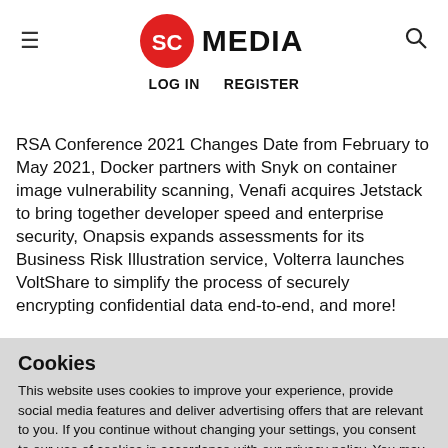SC MEDIA — LOG IN  REGISTER
RSA Conference 2021 Changes Date from February to May 2021, Docker partners with Snyk on container image vulnerability scanning, Venafi acquires Jetstack to bring together developer speed and enterprise security, Onapsis expands assessments for its Business Risk Illustration service, Volterra launches VoltShare to simplify the process of securely encrypting confidential data end-to-end, and more!
Cookies
This website uses cookies to improve your experience, provide social media features and deliver advertising offers that are relevant to you. If you continue without changing your settings, you consent to our use of cookies in accordance with our privacy policy. You may disable cookies.
Accept Cookies